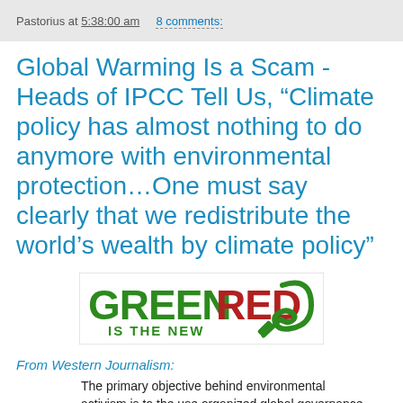Pastorius at 5:38:00 am   8 comments:
Global Warming Is a Scam - Heads of IPCC Tell Us, “Climate policy has almost nothing to do anymore with environmental protection…One must say clearly that we redistribute the world’s wealth by climate policy”
[Figure (illustration): Bumper sticker image reading GREEN IS THE NEW RED with a hammer and sickle symbol, in green and red text]
From Western Journalism:
The primary objective behind environmental activism is to the use organized global governance in